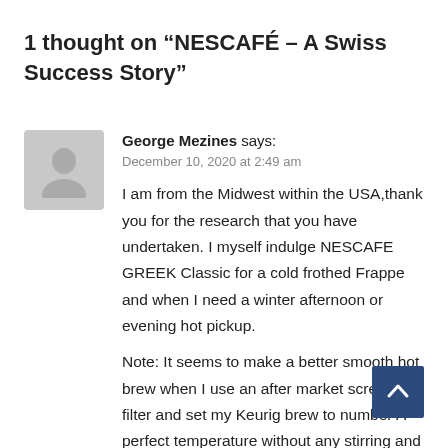1 thought on “NESCAFÉ – A Swiss Success Story”
[Figure (illustration): Gray placeholder avatar icon for user George Mezines]
George Mezines says:
December 10, 2020 at 2:49 am
I am from the Midwest within the USA,thank you for the research that you have undertaken. I myself indulge NESCAFE GREEK Classic for a cold frothed Frappe and when I need a winter afternoon or evening hot pickup.
Note: It seems to make a better smooth hot brew when I use an after market screen filter and set my Keurig brew to number A perfect temperature without any stirring and since it is instant, nothing to dispose
[Figure (other): Dark blue back-to-top button with upward chevron arrow]